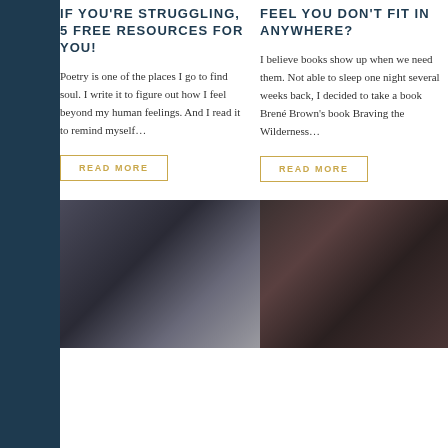IF YOU'RE STRUGGLING, 5 FREE RESOURCES FOR YOU!
Poetry is one of the places I go to find soul. I write it to figure out how I feel beyond my human feelings. And I read it to remind myself…
READ MORE
FEEL YOU DON'T FIT IN ANYWHERE?
I believe books show up when we need them. Not able to sleep one night several weeks back, I decided to take a book Brené Brown's book Braving the Wilderness…
READ MORE
[Figure (photo): Black and white photo of a person lying down]
[Figure (photo): Photo of a woman with red hair wearing dark clothing]